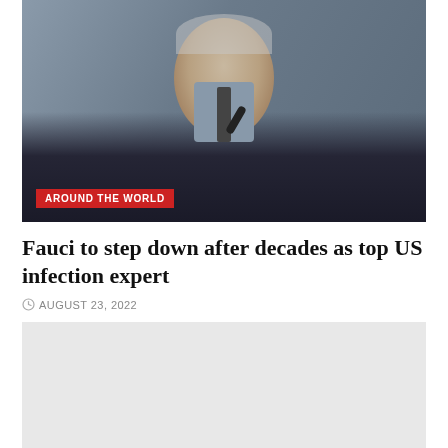[Figure (photo): Man in dark pinstripe suit speaking at a hearing with a microphone, gray hair, gesturing with hands]
AROUND THE WORLD
Fauci to step down after decades as top US infection expert
AUGUST 23, 2022
[Figure (photo): Second photo placeholder, light gray background]